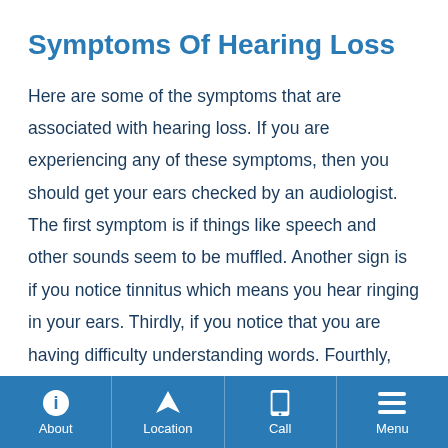Symptoms Of Hearing Loss
Here are some of the symptoms that are associated with hearing loss. If you are experiencing any of these symptoms, then you should get your ears checked by an audiologist. The first symptom is if things like speech and other sounds seem to be muffled. Another sign is if you notice tinnitus which means you hear ringing in your ears. Thirdly, if you notice that you are having difficulty understanding words. Fourthly, the need
About | Location | Call | Menu